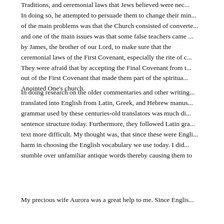Traditions, and ceremonial laws that Jews believed were nec... In doing so, he attempted to persuade them to change their min... of the main problems was that the Church consisted of converte... and one of the main issues was that some false teachers came ... by James, the brother of our Lord, to make sure that the... ceremonial laws of the First Covenant, especially the rite of c... They were afraid that by accepting the Final Covenant from t... out of the First Covenant that made them part of the spiritua... Anointed One's church.
In doing research on the older commentaries and other writing... translated into English from Latin, Greek, and Hebrew manus... grammar used by these centuries-old translators was much di... sentence structure today. Furthermore, they followed Latin gra... text more difficult. My thought was, that since these were Engli... harm in choosing the English vocabulary we use today. I did... stumble over unfamiliar antique words thereby causing them to
My precious wife Aurora was a great help to me. Since Englis...